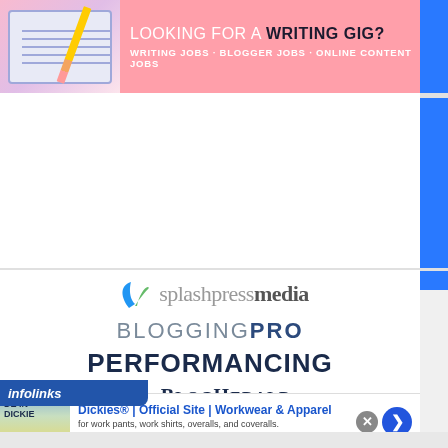[Figure (other): Banner advertisement: LOOKING FOR A WRITING GIG? WRITING JOBS · BLOGGER JOBS · ONLINE CONTENT JOBS, pink background with notebook image]
[Figure (logo): splashpressmedia logo with blue and green leaf icon above text]
BLOGGING PRO
PERFORMANCING
the BlogHerald
[Figure (other): Infolinks advertising label bar, dark blue with white italic text 'infolinks']
[Figure (other): Dickies® | Official Site | Workwear & Apparel advertisement. 'for work pants, work shirts, overalls, and coveralls.' www.dickies.com]